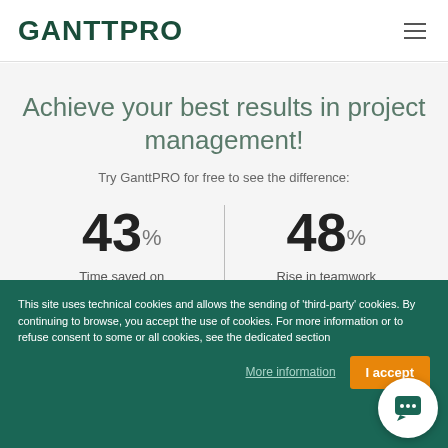GANTTPRO
Achieve your best results in project management!
Try GanttPRO for free to see the difference:
43% Time saved on
48% Rise in teamwork
This site uses technical cookies and allows the sending of 'third-party' cookies. By continuing to browse, you accept the use of cookies. For more information or to refuse consent to some or all cookies, see the dedicated section
More information
I accept